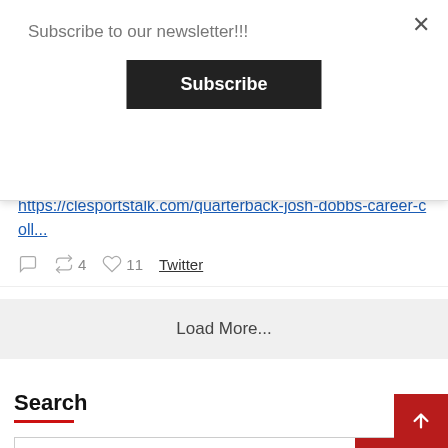Subscribe to our newsletter!!!
Subscribe
his college highlights HERE.
https://clesportstalk.com/quarterback-josh-dobbs-career-coll...
4   11   Twitter
Load More...
Search
Search ...
Sear